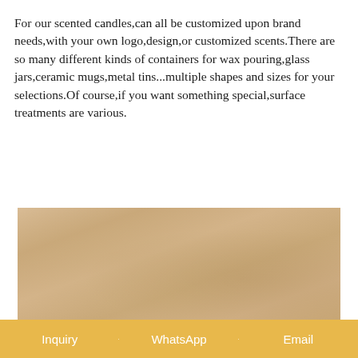For our scented candles,can all be customized upon brand needs,with your own logo,design,or customized scents.There are so many different kinds of containers for wax pouring,glass jars,ceramic mugs,metal tins...multiple shapes and sizes for your selections.Of course,if you want something special,surface treatments are various.
[Figure (photo): Partial photo of a kraft paper-wrapped or natural textured cylindrical candle container against a warm beige/tan background]
Inquiry   WhatsApp   Email